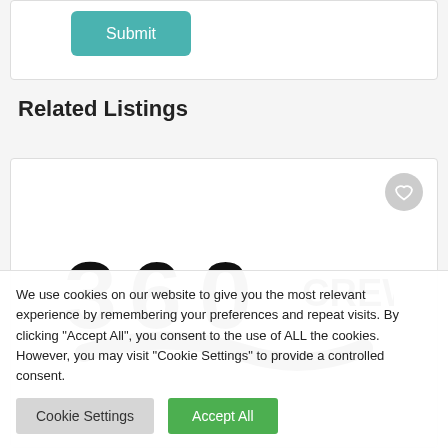[Figure (screenshot): Submit button (teal/green) inside a white card panel]
Related Listings
[Figure (logo): 360 CREW logo in black text with circular dot]
We use cookies on our website to give you the most relevant experience by remembering your preferences and repeat visits. By clicking "Accept All", you consent to the use of ALL the cookies. However, you may visit "Cookie Settings" to provide a controlled consent.
Cookie Settings | Accept All